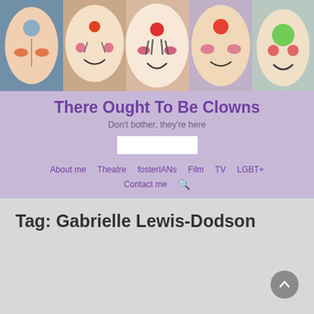[Figure (photo): Banner image showing multiple colorfully painted clown faces close together]
There Ought To Be Clowns
Don't bother, they're here
[Figure (other): Search input box]
About me
Theatre
fosterIANs
Film
TV
LGBT+
Contact me
Tag: Gabrielle Lewis-Dodson